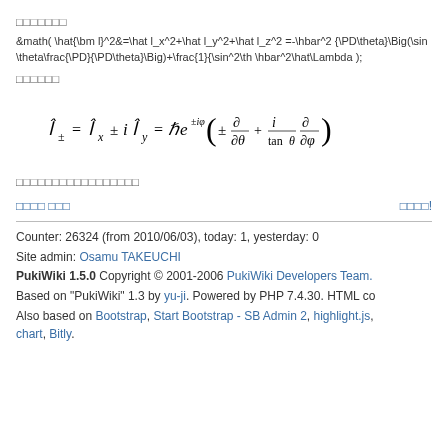□□□□□□□
&math( \hat{\bm l}^2&=\hat l_x^2+\hat l_y^2+\hat l_z^2 =-\hbar^2 {\PD\theta}\Big(\sin\theta\frac{\PD}{\PD\theta}\Big)+\frac{1}{\sin^2\th \hbar^2\hat\Lambda );
□□□□□□
□□□□□□□□□□□□□□□□□
□□□□ □□□    □□□□!
Counter: 26324 (from 2010/06/03), today: 1, yesterday: 0
Site admin: Osamu TAKEUCHI
PukiWiki 1.5.0 Copyright © 2001-2006 PukiWiki Developers Team.
Based on "PukiWiki" 1.3 by yu-ji. Powered by PHP 7.4.30. HTML co
Also based on Bootstrap, Start Bootstrap - SB Admin 2, highlight.js, chart, Bitly.